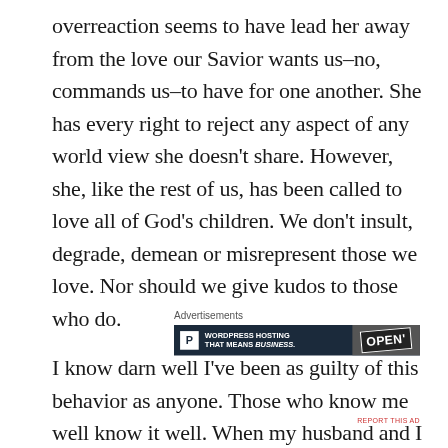overreaction seems to have lead her away from the love our Savior wants us–no, commands us–to have for one another. She has every right to reject any aspect of any world view she doesn't share. However, she, like the rest of us, has been called to love all of God's children. We don't insult, degrade, demean or misrepresent those we love. Nor should we give kudos to those who do.
[Figure (other): WordPress hosting advertisement banner: dark navy background with a white P logo box on left, text 'WORDPRESS HOSTING THAT MEANS BUSINESS.' in white bold, and an image of an OPEN sign on the right.]
I know darn well I've been as guilty of this behavior as anyone. Those who know me well know it well. When my husband and I dated, he called me his lovely little